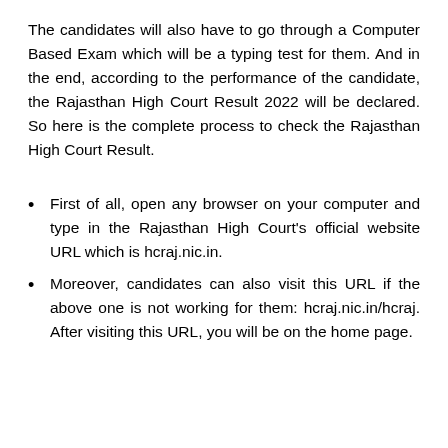The candidates will also have to go through a Computer Based Exam which will be a typing test for them. And in the end, according to the performance of the candidate, the Rajasthan High Court Result 2022 will be declared. So here is the complete process to check the Rajasthan High Court Result.
First of all, open any browser on your computer and type in the Rajasthan High Court's official website URL which is hcraj.nic.in.
Moreover, candidates can also visit this URL if the above one is not working for them: hcraj.nic.in/hcraj. After visiting this URL, you will be on the home page.